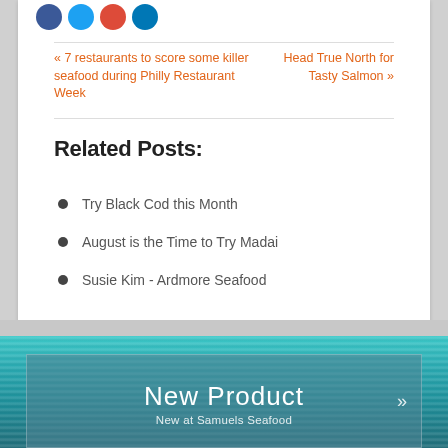« 7 restaurants to score some killer seafood during Philly Restaurant Week
Head True North for Tasty Salmon »
Related Posts:
Try Black Cod this Month
August is the Time to Try Madai
Susie Kim - Ardmore Seafood
[Figure (photo): Ocean/water background with teal-blue water texture]
New Product
New at Samuels Seafood